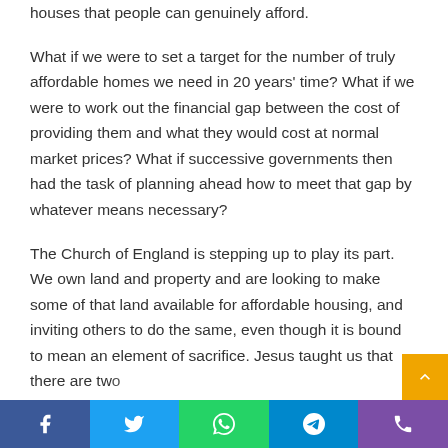houses that people can genuinely afford.
What if we were to set a target for the number of truly affordable homes we need in 20 years' time? What if we were to work out the financial gap between the cost of providing them and what they would cost at normal market prices? What if successive governments then had the task of planning ahead how to meet that gap by whatever means necessary?
The Church of England is stepping up to play its part. We own land and property and are looking to make some of that land available for affordable housing, and inviting others to do the same, even though it is bound to mean an element of sacrifice. Jesus taught us that there are two simple tasks at the heart of human life: to love God and to
[Figure (other): Social sharing bar with Facebook, Twitter, WhatsApp, Telegram, and phone/share icons at the bottom of the page]